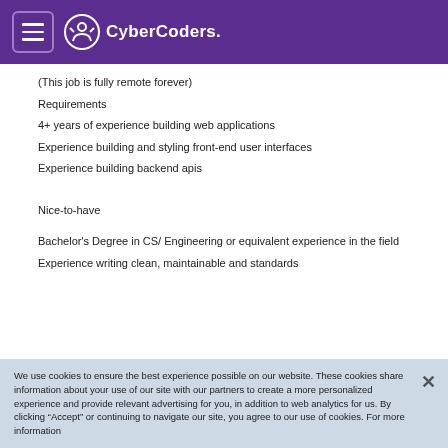CyberCoders
(This job is fully remote forever)
Requirements
4+ years of experience building web applications
Experience building and styling front-end user interfaces
Experience building backend apis
Nice-to-have
Bachelor's Degree in CS/ Engineering or equivalent experience in the field
Experience writing clean, maintainable and standards
We use cookies to ensure the best experience possible on our website. These cookies share information about your use of our site with our partners to create a more personalized experience and provide relevant advertising for you, in addition to web analytics for us. By clicking "Accept" or continuing to navigate our site, you agree to our use of cookies. For more information